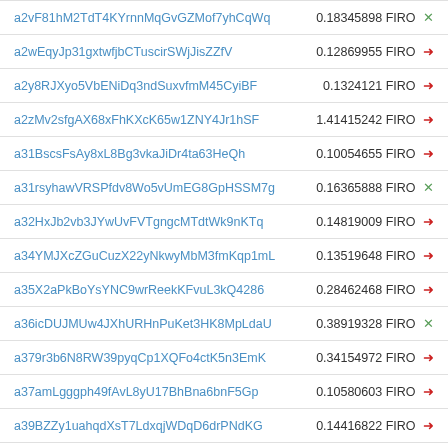| Address | Amount | Currency | Status |
| --- | --- | --- | --- |
| a2vF81hM2TdT4KYrnnMqGvGZMof7yhCqWq | 0.18345898 | FIRO | ✓ |
| a2wEqyJp31gxtwfjbCTuscirSWjJisZZfV | 0.12869955 | FIRO | → |
| a2y8RJXyo5VbENiDq3ndSuxvfmM45CyiBF | 0.1324121 | FIRO | → |
| a2zMv2sfgAX68xFhKXcK65w1ZNY4Jr1hSF | 1.41415242 | FIRO | → |
| a31BscsFsAy8xL8Bg3vkaJiDr4ta63HeQh | 0.10054655 | FIRO | → |
| a31rsyhawVRSPfdv8Wo5vUmEG8GpHSSM7g | 0.16365888 | FIRO | ✓ |
| a32HxJb2vb3JYwUvFVTgngcMTdtWk9nKTq | 0.14819009 | FIRO | → |
| a34YMJXcZGuCuzX22yNkwyMbM3fmKqp1mL | 0.13519648 | FIRO | → |
| a35X2aPkBoYsYNC9wrReekKFvuL3kQ4286 | 0.28462468 | FIRO | → |
| a36icDUJMUw4JXhURHnPuKet3HK8MpLdaU | 0.38919328 | FIRO | ✓ |
| a379r3b6N8RW39pyqCp1XQFo4ctK5n3EmK | 0.34154972 | FIRO | → |
| a37amLgggph49fAvL8yU17BhBna6bnF5Gp | 0.10580603 | FIRO | → |
| a39BZZy1uahqdXsT7LdxqjWDqD6drPNdKG | 0.14416822 | FIRO | → |
| a3AUsoZecDc8zj9UL3Q3F9Ptk5WDep2dVY | 0.22089319 | FIRO | → |
| a3BE7b8MHAsBRuRHvdEvM5wE8biWO7m77E | 0.34247788 | FIRO | → |